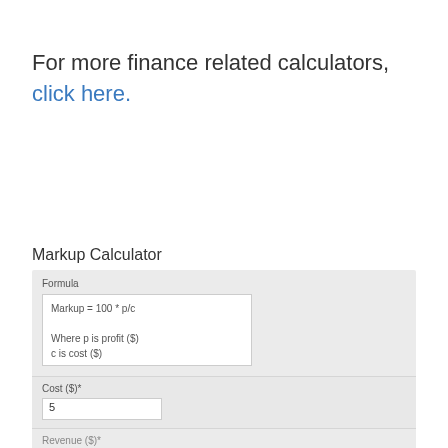For more finance related calculators, click here.
Markup Calculator
| Formula | Markup = 100 * p/c

Where p is profit ($)
c is cost ($) |
| Cost ($)* | 5 |
| Revenue ($)* |  |